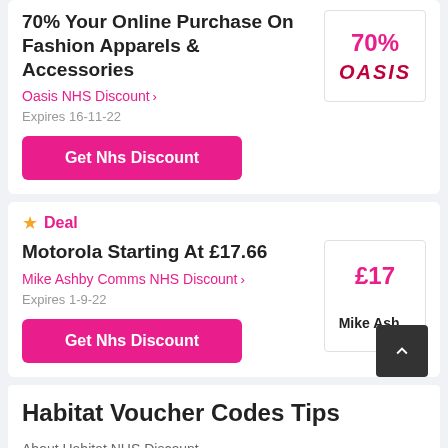70% Your Online Purchase On Fashion Apparels & Accessories
Oasis NHS Discount >
Expires 16-11-22
Get Nhs Discount
Deal
Motorola Starting At £17.66
Mike Ashby Comms NHS Discount >
Expires 1-9-22
Get Nhs Discount
Habitat Voucher Codes Tips
About Habitat NHS Discount
Habitat NHS Discount is a special discount for NHS staff, if you get